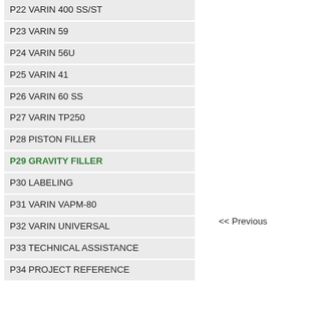P22 VARIN 400 SS/ST
P23 VARIN 59
P24 VARIN 56U
P25 VARIN 41
P26 VARIN 60 SS
P27 VARIN TP250
P28 PISTON FILLER
P29 GRAVITY FILLER
P30 LABELING
P31 VARIN VAPM-80
P32 VARIN UNIVERSAL
P33 TECHNICAL ASSISTANCE
P34 PROJECT REFERENCE
<< Previous